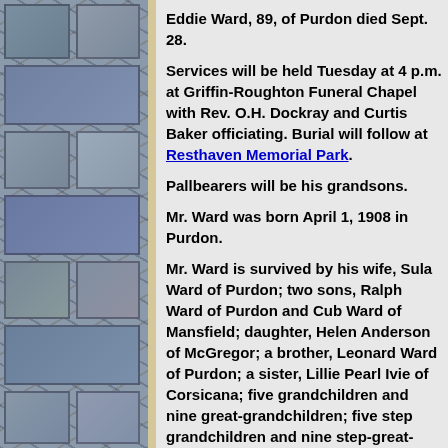Eddie Ward, 89, of Purdon died Sept. 28.
Services will be held Tuesday at 4 p.m. at Griffin-Roughton Funeral Chapel with Rev. O.H. Dockray and Curtis Baker officiating. Burial will follow at Resthaven Memorial Park.
Pallbearers will be his grandsons.
Mr. Ward was born April 1, 1908 in Purdon.
Mr. Ward is survived by his wife, Sula Ward of Purdon; two sons, Ralph Ward of Purdon and Cub Ward of Mansfield; daughter, Helen Anderson of McGregor; a brother, Leonard Ward of Purdon; a sister, Lillie Pearl Ivie of Corsicana; five grandchildren and nine great-grandchildren; five step grandchildren and nine step-great-grandchildren.
Arrangements by Griffin-Roughton Funeral Home.
Notes: